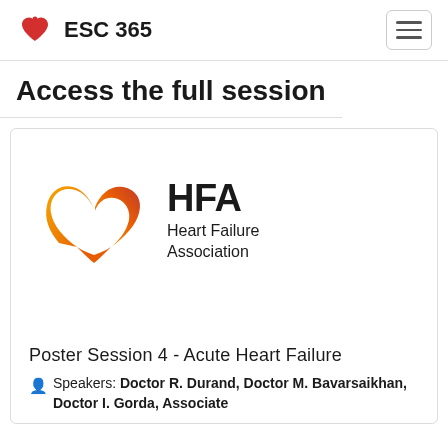ESC 365
Access the full session
[Figure (logo): HFA Heart Failure Association logo — stylized golden-red heart shape on left, bold text 'HFA' with 'Heart Failure Association' on right]
Poster Session 4 - Acute Heart Failure
Speakers: Doctor R. Durand, Doctor M. Bavarsaikhan, Doctor I. Gorda, Associate